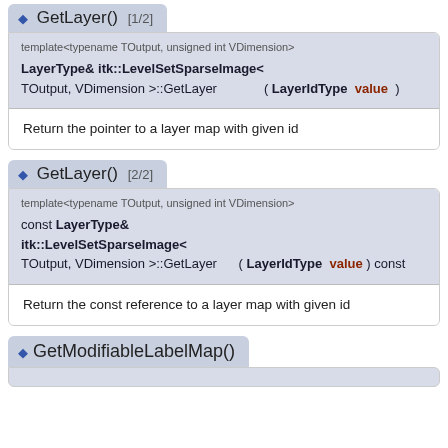◆ GetLayer() [1/2]
template<typename TOutput, unsigned int VDimension>
LayerType& itk::LevelSetSparseImage< TOutput, VDimension >::GetLayer ( LayerIdType value )
Return the pointer to a layer map with given id
◆ GetLayer() [2/2]
template<typename TOutput, unsigned int VDimension>
const LayerType& itk::LevelSetSparseImage< TOutput, VDimension >::GetLayer ( LayerIdType value ) const
Return the const reference to a layer map with given id
◆ GetModifiableLabelMap()